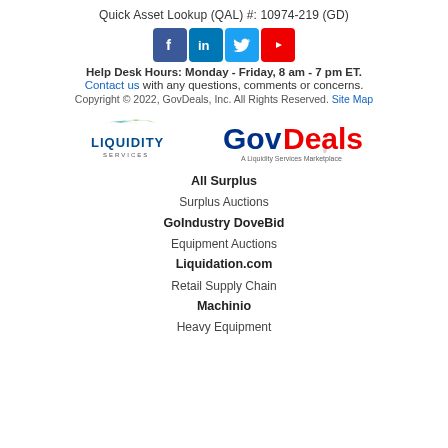Quick Asset Lookup (QAL) #: 10974-219 (GD)
[Figure (logo): Social media icons: Facebook, LinkedIn, Twitter, YouTube]
Help Desk Hours: Monday - Friday, 8 am - 7 pm ET.
Contact us with any questions, comments or concerns.
Copyright © 2022, GovDeals, Inc. All Rights Reserved. Site Map
[Figure (logo): Liquidity Services logo and GovDeals A Liquidity Services Marketplace logo]
All Surplus
Surplus Auctions
GoIndustry DoveBid
Equipment Auctions
Liquidation.com
Retail Supply Chain
Machinio
Heavy Equipment